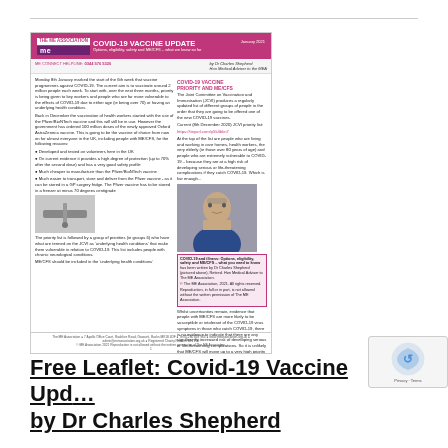[Figure (illustration): Thumbnail image of an ME Association leaflet titled 'COVID-19 VACCINE UPDATE: Options, eligibility, safety and ME/CFS – what we know so far' dated January 2021, by Dr Charles Shepherd, Hon Medical Adviser to the ME Association. The leaflet shows a photo of Dr Charles Shepherd and a vaccine syringe image.]
Free Leaflet: Covid-19 Vaccine Update by Dr Charles Shepherd